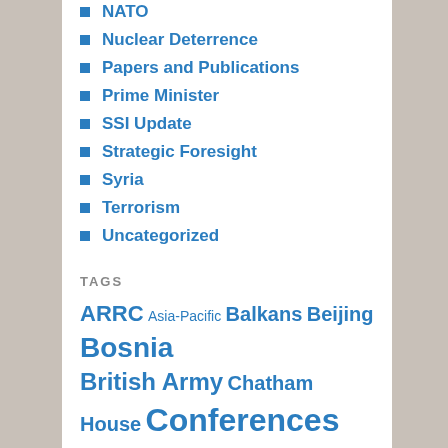NATO
Nuclear Deterrence
Papers and Publications
Prime Minister
SSI Update
Strategic Foresight
Syria
Terrorism
Uncategorized
TAGS
ARRC Asia-Pacific Balkans Beijing Bosnia British Army Chatham House Conferences cyber-security Cyber Attacks Danny Steed DFID EU Gareth Stansfield Grand Challenges IAEA Iran Iraq JIC Middle East MoD MStrat National Security Strategy NATO